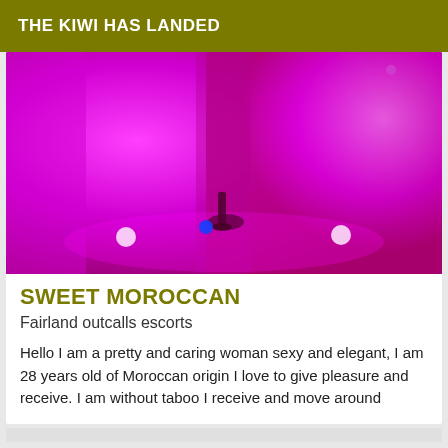THE KIWI HAS LANDED
[Figure (photo): Photo of a room with pink/magenta lighting, showing legs in high heels on a reflective floor with small colored lights]
SWEET MOROCCAN
Fairland outcalls escorts
Hello I am a pretty and caring woman sexy and elegant, I am 28 years old of Moroccan origin I love to give pleasure and receive. I am without taboo I receive and move around